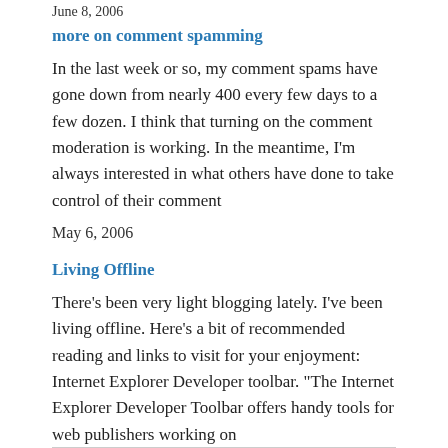June 8, 2006
more on comment spamming
In the last week or so, my comment spams have gone down from nearly 400 every few days to a few dozen. I think that turning on the comment moderation is working. In the meantime, I'm always interested in what others have done to take control of their comment
May 6, 2006
Living Offline
There's been very light blogging lately. I've been living offline. Here's a bit of recommended reading and links to visit for your enjoyment: Internet Explorer Developer toolbar. "The Internet Explorer Developer Toolbar offers handy tools for web publishers working on
November 20, 2005